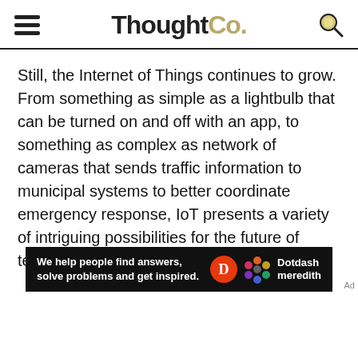ThoughtCo.
Still, the Internet of Things continues to grow. From something as simple as a lightbulb that can be turned on and off with an app, to something as complex as network of cameras that sends traffic information to municipal systems to better coordinate emergency response, IoT presents a variety of intriguing possibilities for the future of technology.
[Figure (other): Dotdash Meredith advertisement banner: 'We help people find answers, solve problems and get inspired.' with Dotdash Meredith logo]